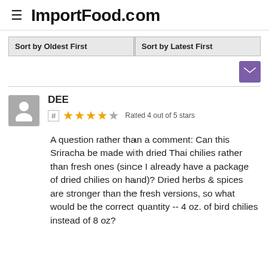ImportFood.com
Sort by Oldest First
Sort by Latest First
DEE
# Rated 4 out of 5 stars
A question rather than a comment: Can this Sriracha be made with dried Thai chilies rather than fresh ones (since I already have a package of dried chilies on hand)? Dried herbs & spices are stronger than the fresh versions, so what would be the correct quantity -- 4 oz. of bird chilies instead of 8 oz?